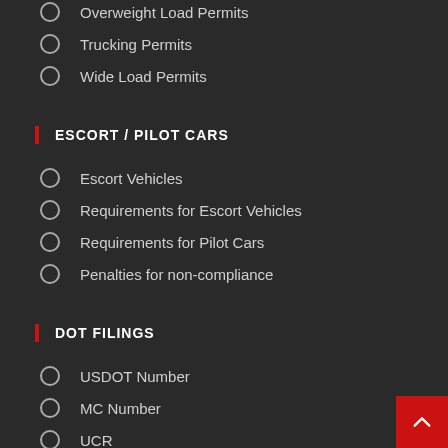Overweight Load Permits
Trucking Permits
Wide Load Permits
ESCORT / PILOT CARS
Escort Vehicles
Requirements for Escort Vehicles
Requirements for Pilot Cars
Penalties for non-compliance
DOT FILINGS
USDOT Number
MC Number
UCR
IFTA